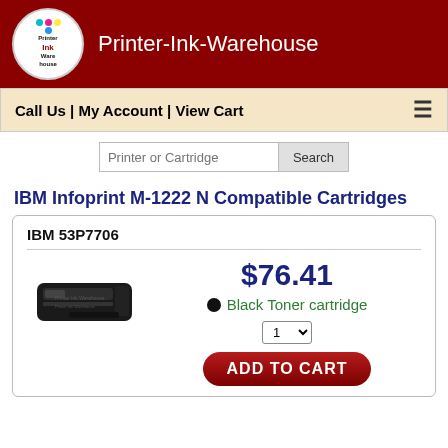Printer-Ink-Warehouse
Call Us | My Account | View Cart
Printer or Cartridge Search
IBM Infoprint M-1222 N Compatible Cartridges
IBM 53P7706
$76.41
[Figure (photo): Black toner cartridge product image for IBM 53P7706]
Black Toner cartridge
ADD TO CART